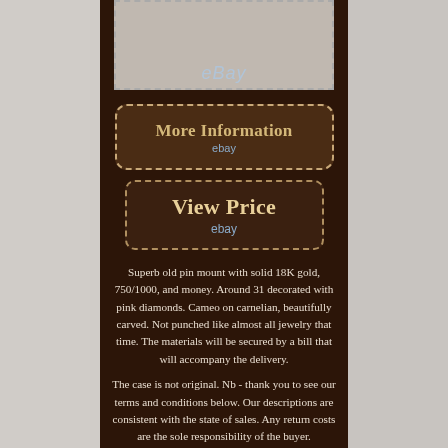[Figure (screenshot): eBay listing image showing a jewelry box, with eBay watermark at the bottom]
[Figure (screenshot): More Information button with eBay branding, dark brown background with dotted border]
[Figure (screenshot): View Price button with eBay branding, dark brown background with dotted border]
Superb old pin mount with solid 18K gold, 750/1000, and money. Around 31 decorated with pink diamonds. Cameo on carnelian, beautifully carved. Not punched like almost all jewelry that time. The materials will be secured by a bill that will accompany the delivery.
The case is not original. Nb - thank you to see our terms and conditions below. Our descriptions are consistent with the state of sales. Any return costs are the sole responsibility of the buyer.
No negotiable discount after the sale. Superb antique brooch with a 18k solid gold setting, 750/1000, and